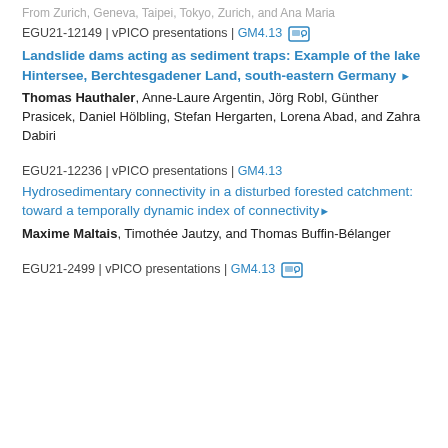From Zurich, Geneva, Taipei, Tokyo, Zurich, and Ana Maria
EGU21-12149 | vPICO presentations | GM4.13
Landslide dams acting as sediment traps: Example of the lake Hintersee, Berchtesgadener Land, south-eastern Germany
Thomas Hauthaler, Anne-Laure Argentin, Jörg Robl, Günther Prasicek, Daniel Hölbling, Stefan Hergarten, Lorena Abad, and Zahra Dabiri
EGU21-12236 | vPICO presentations | GM4.13
Hydrosedimentary connectivity in a disturbed forested catchment: toward a temporally dynamic index of connectivity
Maxime Maltais, Timothée Jautzy, and Thomas Buffin-Bélanger
EGU21-2499 | vPICO presentations | GM4.13